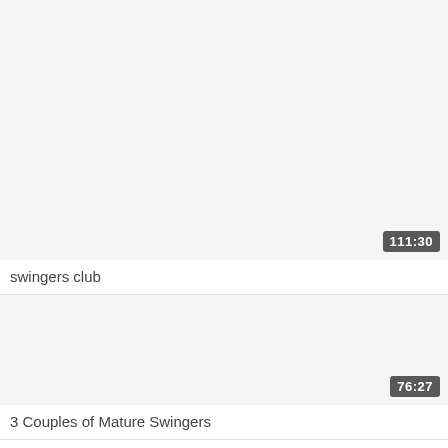[Figure (screenshot): Video thumbnail placeholder — light grey rectangle for first video]
111:30
swingers club
[Figure (screenshot): Video thumbnail placeholder — light grey rectangle for second video]
76:27
3 Couples of Mature Swingers